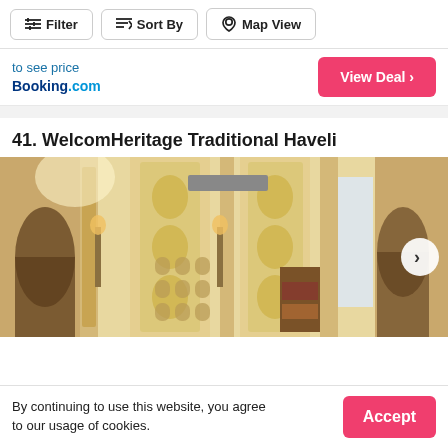Filter | Sort By | Map View
to see price
Booking.com
View Deal >
41. WelcomHeritage Traditional Haveli
[Figure (photo): Interior of WelcomHeritage Traditional Haveli showing ornate traditional Indian architecture with arched doorways, decorative floral carvings on pillars, and warm golden lighting. A next/arrow button is visible on the right side.]
By continuing to use this website, you agree to our usage of cookies.
Accept